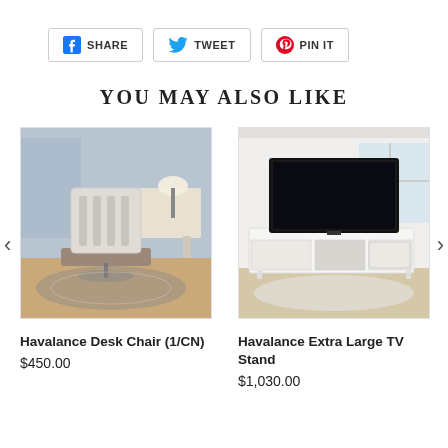[Figure (infographic): Social share buttons: Facebook SHARE, Twitter TWEET, Pinterest PIN IT]
YOU MAY ALSO LIKE
[Figure (photo): Havalance Desk Chair product photo - white desk chair in room setting]
Havalance Desk Chair (1/CN)
$450.00
[Figure (photo): Havalance Extra Large TV Stand product photo - white TV stand with TV in room setting]
Havalance Extra Large TV Stand
$1,030.00